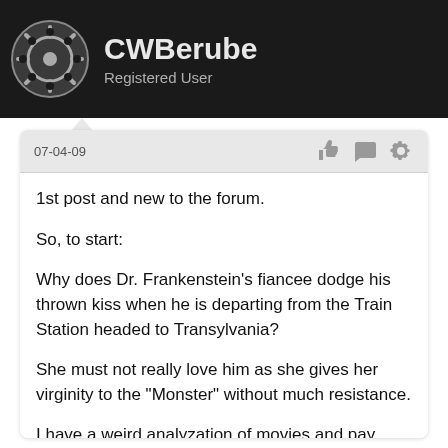CWBerube
Registered User
07-04-09
1st post and new to the forum.

So, to start:

Why does Dr. Frankenstein's fiancee dodge his thrown kiss when he is departing from the Train Station headed to Transylvania?

She must not really love him as she gives her virginity to the "Monster" without much resistance.

I have a weird analyzation of movies and pay very close attention to details as such.